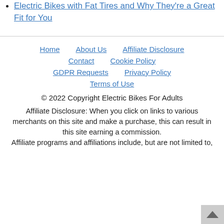Electric Bikes with Fat Tires and Why They're a Great Fit for You
Home  About Us  Affiliate Disclosure  Contact  Cookie Policy  GDPR Requests  Privacy Policy  Terms of Use
© 2022 Copyright Electric Bikes For Adults
Affiliate Disclosure: When you click on links to various merchants on this site and make a purchase, this can result in this site earning a commission. Affiliate programs and affiliations include, but are not limited to,